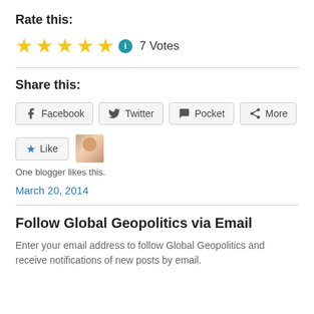Rate this:
★★★★★ ⓘ 7 Votes
Share this:
Facebook | Twitter | Pocket | More
★ Like  [avatar]  One blogger likes this.
March 20, 2014
Follow Global Geopolitics via Email
Enter your email address to follow Global Geopolitics and receive notifications of new posts by email.